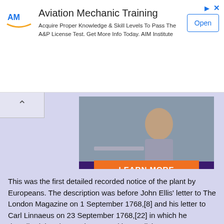[Figure (screenshot): Advertisement banner for Aviation Mechanic Training by AIM Institute with logo, description text, and Open button]
[Figure (photo): High Point University advertisement image showing a woman studying with LEARN MORE button and university logo on purple background]
This was the first detailed recorded notice of the plant by Europeans. The description was before John Ellis' letter to The London Magazine on 1 September 1768,[8] and his letter to Carl Linnaeus on 23 September 1768,[22] in which he described the plant and proposed its English name Venus's Flytrap and scientific name Dionaea muscipula.[23] Description